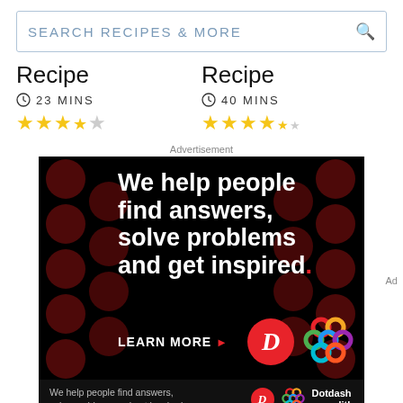SEARCH RECIPES & MORE
Recipe  23 MINS  ★★★½☆
Recipe  40 MINS  ★★★★½
Advertisement
[Figure (other): Dotdash Meredith advertisement with dark background and red polka dots. White bold text reads: 'We help people find answers, solve problems and get inspired.' with 'LEARN MORE ▶' button, Dotdash red circle D logo, and colorful Meredith interlocking circles logo. Footer bar repeats tagline with logos and Dotdash meredith text.]